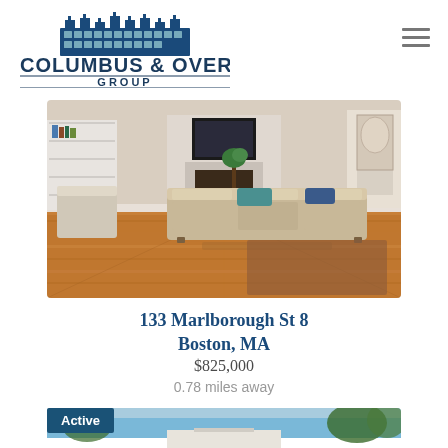[Figure (logo): Columbus & Over Group real estate logo with building illustration and text]
[Figure (photo): Interior living room photo showing hardwood floors, beige sofa, fireplace, and built-in shelves]
133 Marlborough St 8
Boston, MA
$825,000
0.78 miles away
[Figure (photo): Exterior photo of building with blue sky and trees, showing Active badge]